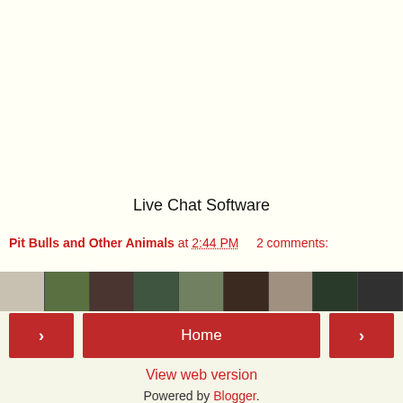Live Chat Software
Pit Bulls and Other Animals at 2:44 PM    2 comments:
[Figure (photo): A horizontal strip of small animal/pet photos]
< Home >
View web version
Powered by Blogger.